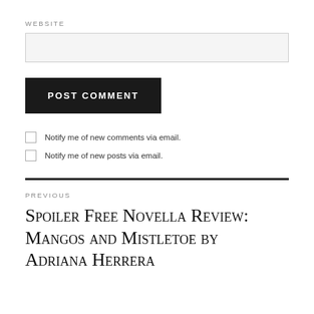WEBSITE
[website input field]
POST COMMENT
Notify me of new comments via email.
Notify me of new posts via email.
PREVIOUS
Spoiler Free Novella Review: Mangos and Mistletoe by Adriana Herrera